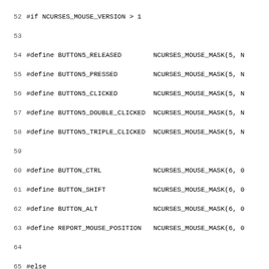[Figure (screenshot): Source code listing of C header file defining ncurses mouse button macros, lines 52-83, showing #define directives for BUTTON5 variants, BUTTON_CTRL/SHIFT/ALT, REPORT_MOUSE_POSITION, #else branch with BUTTON1-4_RESERVED_EVENT and additional defines, #endif, ALL_MOUSE_EVENTS, and BUTTON_RELEASE/BUTTON_PRESS macros.]